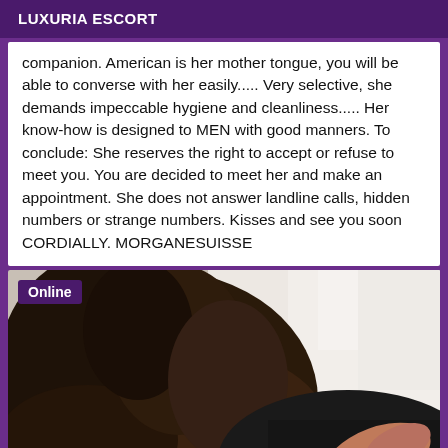LUXURIA ESCORT
companion. American is her mother tongue, you will be able to converse with her easily..... Very selective, she demands impeccable hygiene and cleanliness..... Her know-how is designed to MEN with good manners. To conclude: She reserves the right to accept or refuse to meet you. You are decided to meet her and make an appointment. She does not answer landline calls, hidden numbers or strange numbers. Kisses and see you soon CORDIALLY. MORGANESUISSE
[Figure (photo): Woman with dark curly hair, partially visible, wearing dark clothing, with red nail polish or lips visible at bottom right. White background on upper right.]